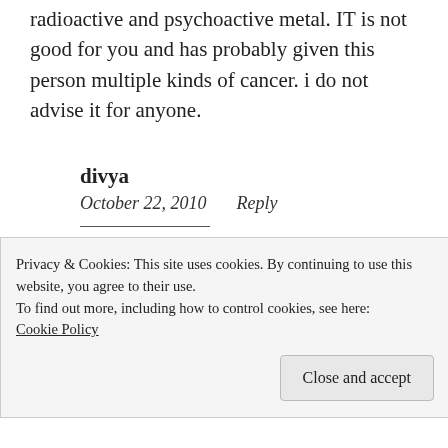radioactive and psychoactive metal. IT is not good for you and has probably given this person multiple kinds of cancer. i do not advise it for anyone.
divya
October 22, 2010   Reply
ok
Privacy & Cookies: This site uses cookies. By continuing to use this website, you agree to their use.
To find out more, including how to control cookies, see here: Cookie Policy
Close and accept